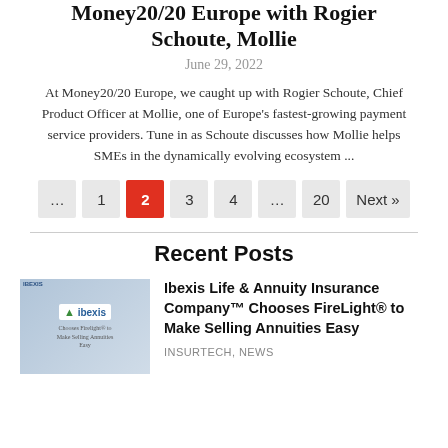Money20/20 Europe with Rogier Schoute, Mollie
June 29, 2022
At Money20/20 Europe, we caught up with Rogier Schoute, Chief Product Officer at Mollie, one of Europe's fastest-growing payment service providers. Tune in as Schoute discusses how Mollie helps SMEs in the dynamically evolving ecosystem ...
... 1 2 3 4 ... 20 Next »
Recent Posts
Ibexis Life & Annuity Insurance Company™ Chooses FireLight® to Make Selling Annuities Easy
INSURTECH, NEWS